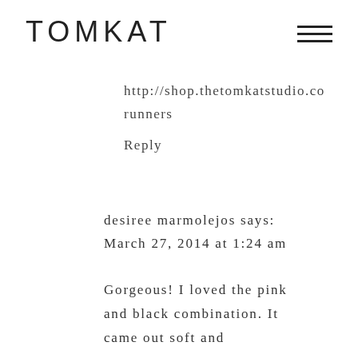TOMKAT
http://shop.thetomkatstudio.co runners
Reply
desiree marmolejos says: March 27, 2014 at 1:24 am
Gorgeous! I loved the pink and black combination. It came out soft and